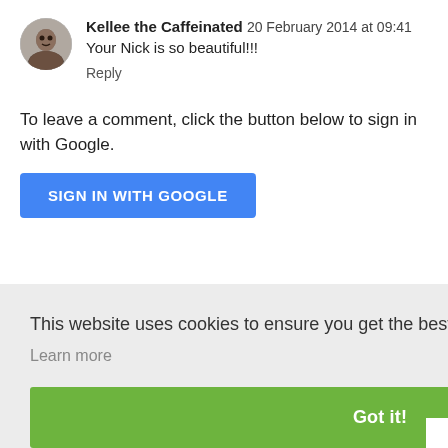Kellee the Caffeinated  20 February 2014 at 09:41
Your Nick is so beautiful!!!
Reply
To leave a comment, click the button below to sign in with Google.
SIGN IN WITH GOOGLE
This website uses cookies to ensure you get the best experience on our website.
Learn more
Got it!